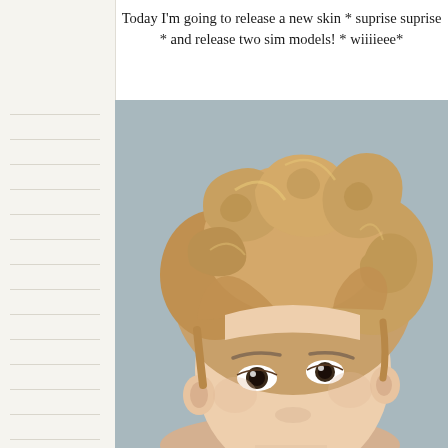Today I'm going to release a new skin * suprise suprise * and release two sim models! * wiiiieee*
[Figure (illustration): Close-up of a Sims 4 male character with voluminous golden-brown curly hair, light skin tone, and dark eyes, against a muted blue-gray background.]